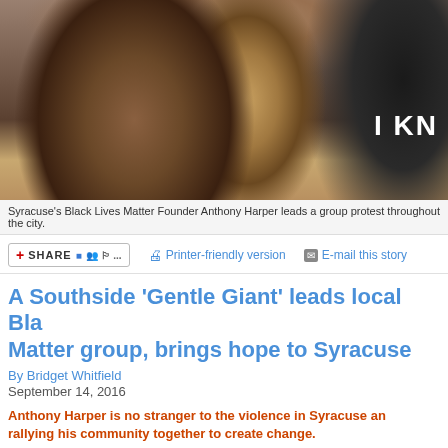[Figure (photo): Syracuse's Black Lives Matter Founder Anthony Harper leads a group protest throughout the city. Photo shows two people, one in a black shirt with text 'I KN' visible.]
Syracuse's Black Lives Matter Founder Anthony Harper leads a group protest throughout the city.
A Southside 'Gentle Giant' leads local Bla Matter group, brings hope to Syracuse
By Bridget Whitfield
September 14, 2016
Anthony Harper is no stranger to the violence in Syracuse an rallying his community together to create change.
Anthony Harper sits on a bench near Mountain Park Avenue, hunched over his ph wearing a black baseball cap, a gray tank top, dark blue denim, and light brown w